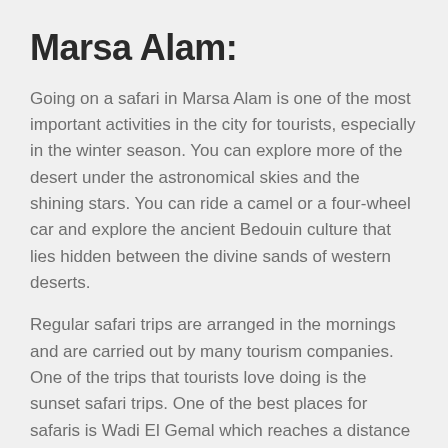Marsa Alam:
Going on a safari in Marsa Alam is one of the most important activities in the city for tourists, especially in the winter season. You can explore more of the desert under the astronomical skies and the shining stars. You can ride a camel or a four-wheel car and explore the ancient Bedouin culture that lies hidden between the divine sands of western deserts.
Regular safari trips are arranged in the mornings and are carried out by many tourism companies. One of the trips that tourists love doing is the sunset safari trips. One of the best places for safaris is Wadi El Gemal which reaches a distance of about 200 km inside the depth of the desert. Some tourists love to stay for a whole night in the bosom of the desert and experience the beauty of the night sky, stars and watch the bright moon.